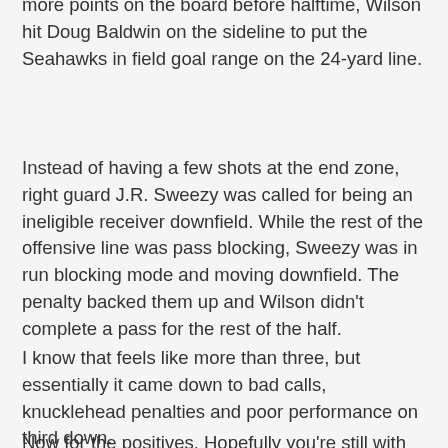more points on the board before halftime, Wilson hit Doug Baldwin on the sideline to put the Seahawks in field goal range on the 24-yard line.
Instead of having a few shots at the end zone, right guard J.R. Sweezy was called for being an ineligible receiver downfield. While the rest of the offensive line was pass blocking, Sweezy was in run blocking mode and moving downfield. The penalty backed them up and Wilson didn't complete a pass for the rest of the half.
I know that feels like more than three, but essentially it came down to bad calls, knucklehead penalties and poor performance on third down.
Now for the positives. Hopefully you're still with me, because even I didn't think it was going to take this